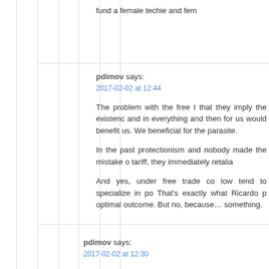fund a female techie and fem
pdimov says:
2017-02-02 at 12:44

The problem with the free t that they imply the existenc and in everything and then for us would benefit us. We beneficial for the parasite.

In the past protectionism and nobody made the mistake o tariff, they immediately retalia

And yes, under free trade co low tend to specialize in po That's exactly what Ricardo p optimal outcome. But no, because… something.
pdimov says:
2017-02-02 at 12:30